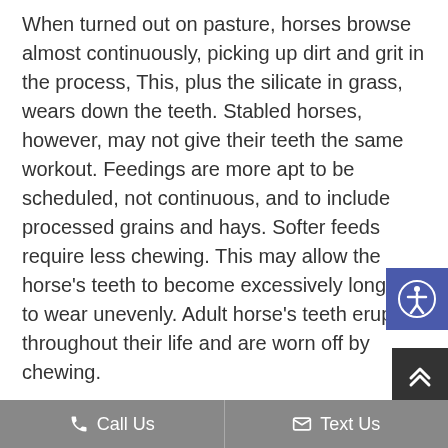When turned out on pasture, horses browse almost continuously, picking up dirt and grit in the process, This, plus the silicate in grass, wears down the teeth. Stabled horses, however, may not give their teeth the same workout. Feedings are more apt to be scheduled, not continuous, and to include processed grains and hays. Softer feeds require less chewing. This may allow the horse's teeth to become excessively long or to wear unevenly. Adult horse's teeth erupt throughout their life and are worn off by chewing.

Unfortunately, cheek teeth tend to develop
Call Us   Text Us